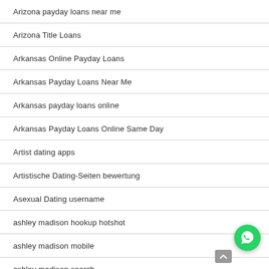Arizona payday loans near me
Arizona Title Loans
Arkansas Online Payday Loans
Arkansas Payday Loans Near Me
Arkansas payday loans online
Arkansas Payday Loans Online Same Day
Artist dating apps
Artistische Dating-Seiten bewertung
Asexual Dating username
ashley madison hookup hotshot
ashley madison mobile
ashley madison search
ashley madison sign in